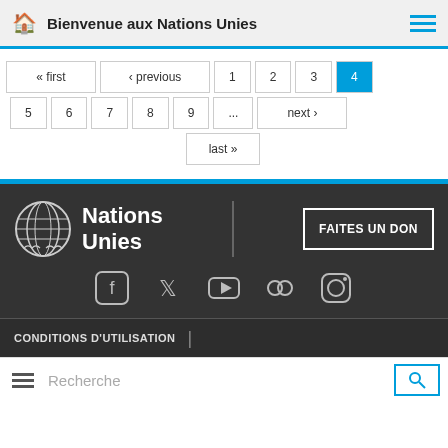Bienvenue aux Nations Unies
« first ‹ previous 1 2 3 4 5 6 7 8 9 ... next › last »
[Figure (logo): Nations Unies (United Nations) globe logo with text and FAITES UN DON donate button, social media icons (Facebook, Twitter, YouTube, Flickr, Instagram)]
CONDITIONS D'UTILISATION
Recherche